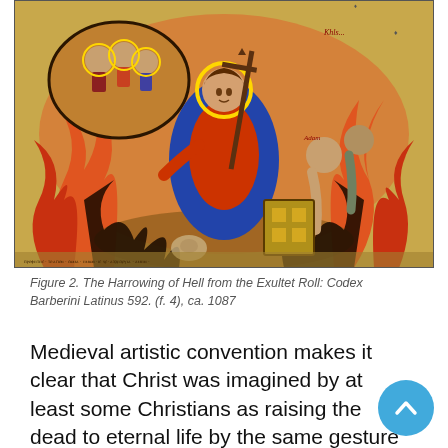[Figure (illustration): Medieval illuminated manuscript illustration depicting the Harrowing of Hell from the Exultet Roll: Codex Barberini Latinus 592. Christ in blue and red garments with a halo holds a cross staff and raises figures from hell, surrounded by flames. From ca. 1087.]
Figure 2. The Harrowing of Hell from the Exultet Roll: Codex Barberini Latinus 592. (f. 4), ca. 1087
Medieval artistic convention makes it clear that Christ was imagined by at least some Christians as raising the dead to eternal life by the same gesture that was used to create Adam and stand...